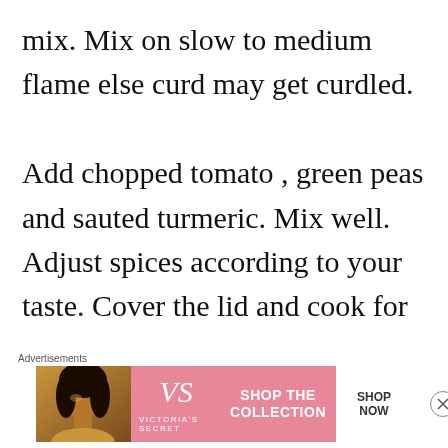mix. Mix on slow to medium flame else curd may get curdled.

Add chopped tomato , green peas and sauted turmeric. Mix well. Adjust spices according to your taste. Cover the lid and cook for 3 minutes on slowest
Advertisements
[Figure (other): Victoria's Secret advertisement banner with a woman model, VS logo, 'SHOP THE COLLECTION' text, and a 'SHOP NOW' button]